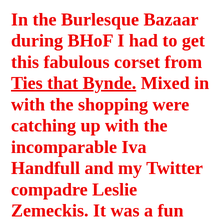In the Burlesque Bazaar during BHoF I had to get this fabulous corset from Ties that Bynde. Mixed in with the shopping were catching up with the incomparable Iva Handfull and my Twitter compadre Leslie Zemeckis. It was a fun day!